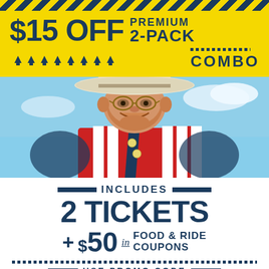$15 OFF PREMIUM 2-PACK COMBO
[Figure (photo): Photo of Big Tex, the giant cowboy statue at the State Fair of Texas, wearing a large white cowboy hat, glasses, red shirt, and blue striped vest, photographed from below against a blue sky]
INCLUDES
2 TICKETS
+ $50 in FOOD & RIDE COUPONS
USE PROMO CODE